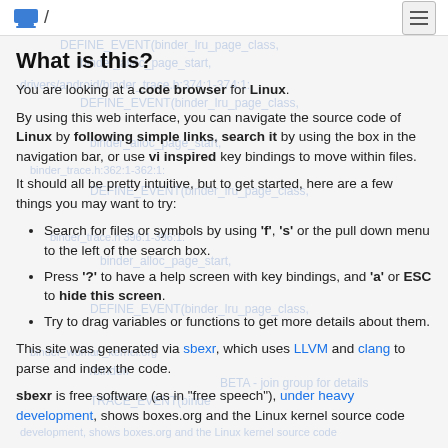/ (logo and hamburger menu)
What is this?
You are looking at a code browser for Linux.
By using this web interface, you can navigate the source code of Linux by following simple links, search it by using the box in the navigation bar, or use vi inspired key bindings to move within files.
It should all be pretty intuitive, but to get started, here are a few things you may want to try:
Search for files or symbols by using 'f', 's' or the pull down menu to the left of the search box.
Press '?' to have a help screen with key bindings, and 'a' or ESC to hide this screen.
Try to drag variables or functions to get more details about them.
This site was generated via sbexr, which uses LLVM and clang to parse and index the code.
sbexr is free software (as in "free speech"), under heavy development, shows boxes, and the Linux kernel source code